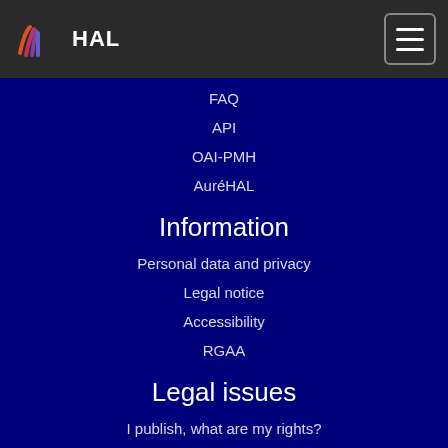[Figure (logo): HAL open archive logo with flame icon and HAL text in white on dark header bar]
FAQ
API
OAI-PMH
AuréHAL
Information
Personal data and privacy
Legal notice
Accessibility
RGAA
Legal issues
I publish, what are my rights?
Sherpa Romeo
Portails
Portals list
HAL SHS